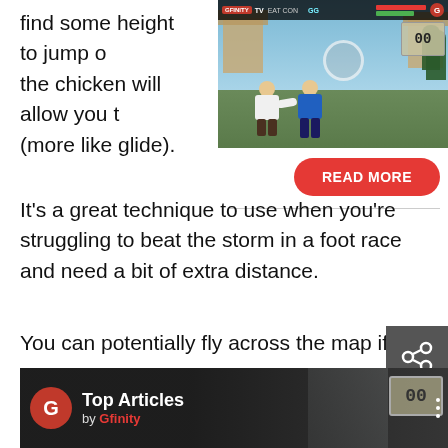find some height to jump o... the chicken will allow you t... (more like glide).
[Figure (screenshot): Video game screenshot showing two fighting game characters in combat, with HUD overlay showing health bars and scores. Gfinity TV branding visible.]
[Figure (other): Red READ MORE button]
It’s a great technique to use when you’re struggling to beat the storm in a foot race and need a bit of extra distance.
You can potentially fly across the map if you get high enough.
[Figure (other): Share icon button (dark grey background with share symbol)]
[Figure (other): Bottom banner showing Top Articles by Gfinity with logo, person in background, and score display]